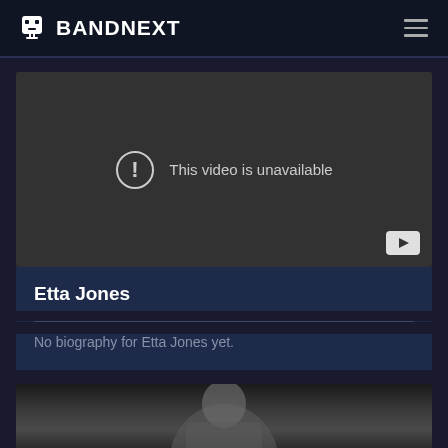BANDNEXT
[Figure (screenshot): Video player showing 'This video is unavailable' message with exclamation icon and YouTube button]
Etta Jones
No biography for Etta Jones yet.
[Figure (photo): Black and white photo of a person, partially visible at bottom of page]